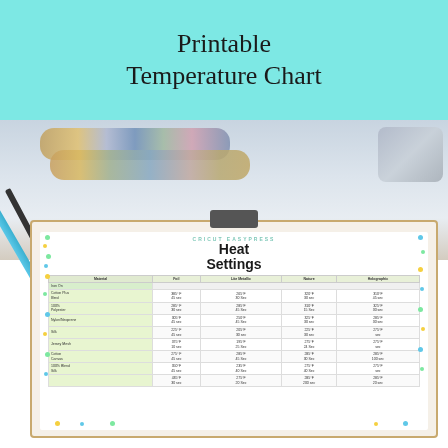Printable Temperature Chart
[Figure (photo): Photo of vinyl rolls and heat press machine on a white surface with markers/pens, with a clipboard showing a Cricut EasyPress Heat Settings temperature chart]
CRICUT EASYPRESS
Heat Settings
| Material | Foil | Lite Metallic | Nature | Holographic |
| --- | --- | --- | --- | --- |
| Iron On |  |  |  |  |
| 100% Cotton | 385°F
45 sec | 265°F
30 Sec | 320°F
30 sec | 310°F
45 sec |
| 100% Polyester | 285°F
30 sec | 285°F
45 Sec | 310°F
15 Sec | 325°F
30 sec |
| Nylon/Neoprene | 305°F
45 sec | 250°F
45 Sec | 325°F
30 sec | 285°F
30 sec |
| Silk | 225°F
45 sec | 205°F
30 sec | 225°F
30 sec | 275°F
 sec |
| Jersey/Mesh | 375°F
10 sec | 195°F
25 Sec | 275°F
24 Sec | 275°F
 sec |
| Cotton Canvas | 275°F
45 sec | 285°F
45 Sec | 285°F
30 Sec | 285°F
100 sec |
| 100% Blend Silk | 350°F
45 sec | 235°F
40 Sec | 275°F
40 Sec | 275°F
 sec |
|  | 435°F
30 sec | 275°F
20 Sec | 285°F
200 sec | 285°F
20 sec |